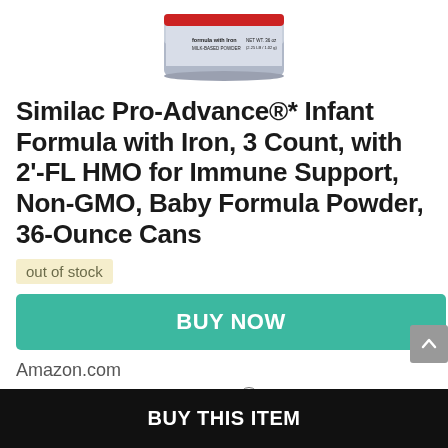[Figure (photo): Partial top view of a Similac Pro-Advance infant formula can showing label text: 'formula with Iron, MILK-BASED POWDER' and 'NET WT. 36 oz (2.25 LB / 1.02 kg)']
Similac Pro-Advance®* Infant Formula with Iron, 3 Count, with 2'-FL HMO for Immune Support, Non-GMO, Baby Formula Powder, 36-Ounce Cans
out of stock
BUY NOW
Amazon.com
as of August 17, 2022 3:14 pm ℹ
BUY THIS ITEM